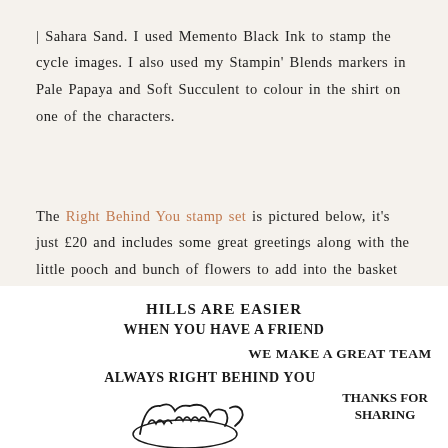| Sahara Sand. I used Memento Black Ink to stamp the cycle images. I also used my Stampin' Blends markers in Pale Papaya and Soft Succulent to colour in the shirt on one of the characters.
The Right Behind You stamp set is pictured below, it's just £20 and includes some great greetings along with the little pooch and bunch of flowers to add into the basket of the bike!
[Figure (illustration): Stamp set image showing handwritten-style text stamps: 'HILLS ARE EASIER WHEN YOU HAVE A FRIEND', 'WE MAKE A GREAT TEAM', 'ALWAYS RIGHT BEHIND YOU', 'THANKS FOR SHARING', and illustrated stamps of a dog and flowers in a basket]